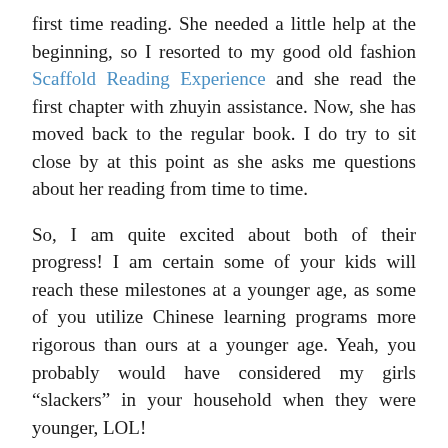first time reading. She needed a little help at the beginning, so I resorted to my good old fashion Scaffold Reading Experience and she read the first chapter with zhuyin assistance. Now, she has moved back to the regular book. I do try to sit close by at this point as she asks me questions about her reading from time to time.
So, I am quite excited about both of their progress! I am certain some of your kids will reach these milestones at a younger age, as some of you utilize Chinese learning programs more rigorous than ours at a younger age. Yeah, you probably would have considered my girls “slackers” in your household when they were younger, LOL!